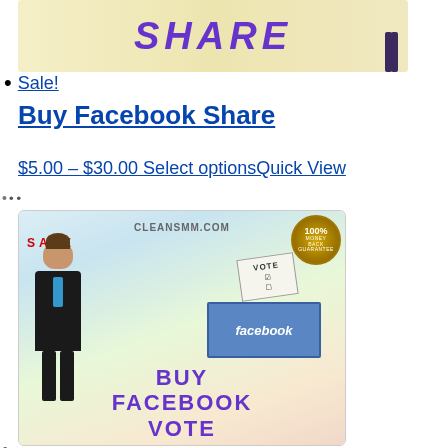[Figure (illustration): Top banner image showing 'SHARE' text in purple on a yellow/cream background with a cartoon figure]
Sale!
Buy Facebook Share
$5.00 – $30.00 Select optionsQuick View
[Figure (illustration): Product image for 'Buy Facebook Vote' from cleansmm.com showing a cartoon man in suit, a Facebook ballot box, SALE badge, 100% Money Back Guarantee badge, and text 'BUY FACEBOOK VOTE' in purple]